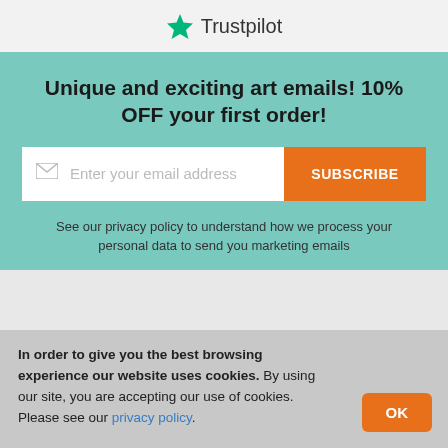Trustpilot
Unique and exciting art emails! 10% OFF your first order!
[Figure (other): Email subscription input field with envelope icon, placeholder text 'Enter your email address', and orange SUBSCRIBE button]
See our privacy policy to understand how we process your personal data to send you marketing emails
In order to give you the best browsing experience our website uses cookies. By using our site, you are accepting our use of cookies. Please see our privacy policy.